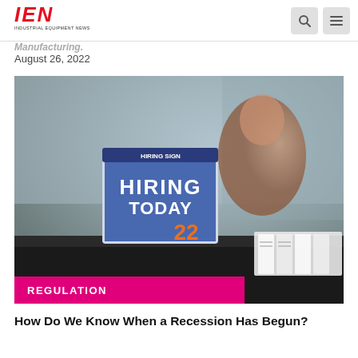IEN Industrial Equipment News
Manufacturing.
August 26, 2022
[Figure (photo): A job fair scene with a 'HIRING TODAY' sign prominently displayed on a table, with a smiling woman in the background and stacked items on the right side of the table.]
REGULATION
How Do We Know When a Recession Has Begun?